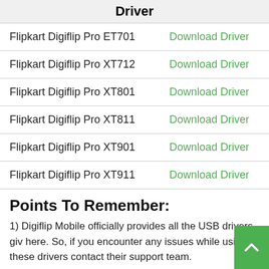|  | Driver |
| --- | --- |
| Flipkart Digiflip Pro ET701 | Download Driver |
| Flipkart Digiflip Pro XT712 | Download Driver |
| Flipkart Digiflip Pro XT801 | Download Driver |
| Flipkart Digiflip Pro XT811 | Download Driver |
| Flipkart Digiflip Pro XT901 | Download Driver |
| Flipkart Digiflip Pro XT911 | Download Driver |
Points To Remember:
1) Digiflip Mobile officially provides all the USB drivers given here. So, if you encounter any issues while using these drivers contact their support team.